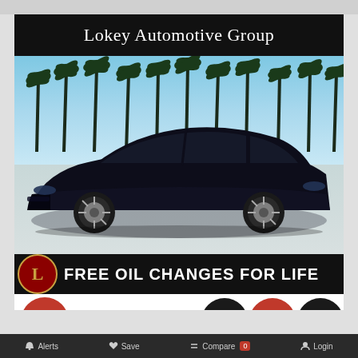[Figure (photo): Lokey Automotive Group advertisement featuring a dark blue Chevrolet Malibu sedan parked on a tiled lot with palm trees and blue sky in the background. Black header bar with white text reading 'Lokey Automotive Group'. Below the car is a promotional banner reading 'FREE OIL CHANGES FOR LIFE' with the Lokey logo on the left.]
FREE OIL CHANGES FOR LIFE
2020 Chevrolet Malibu  Alerts  Save  Compare 0  Login